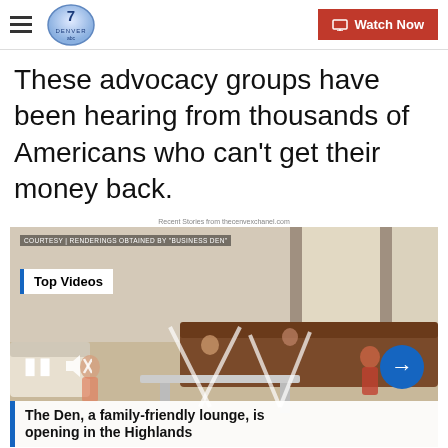Denver7 – KMGH | Watch Now
These advocacy groups have been hearing from thousands of Americans who can't get their money back.
Recent Stories from thecenvexchanel.com
[Figure (screenshot): Video player showing a family-friendly lounge rendering. Overlay text: 'COURTESY | RENDERINGS OBTAINED BY BUSINESS DEN'. Badge: 'Top Videos'. Video controls (pause, mute). Next arrow button. Caption bar: 'The Den, a family-friendly lounge, is opening in the Highlands']
The Den, a family-friendly lounge, is opening in the Highlands